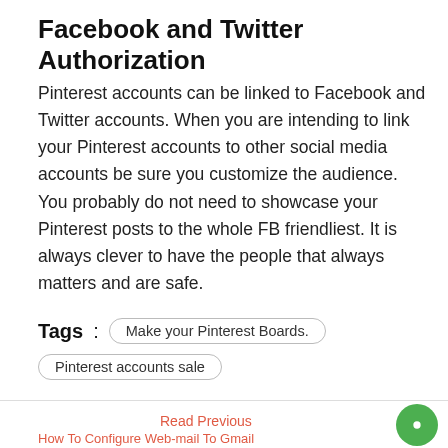Facebook and Twitter Authorization
Pinterest accounts can be linked to Facebook and Twitter accounts. When you are intending to link your Pinterest accounts to other social media accounts be sure you customize the audience. You probably do not need to showcase your Pinterest posts to the whole FB friendliest. It is always clever to have the people that always matters and are safe.
Tags : Make your Pinterest Boards. Pinterest accounts sale
▲ Back to top   Read Previous How To Configure Web-mail To Gmail